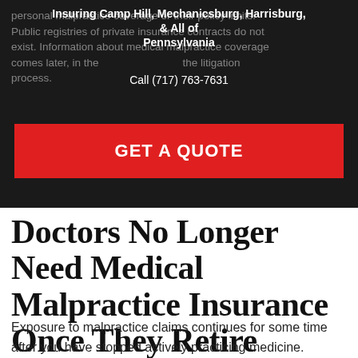personal malpractice coverage or their policy limits. Public registries of private insurance contracts do not exist. Information about medical malpractice coverage comes later, in the litigation process.
Insuring Camp Hill, Mechanicsburg, Harrisburg, & All of Pennsylvania
Call (717) 763-7631
[Figure (other): Red button with text GET A QUOTE]
Doctors No Longer Need Medical Malpractice Insurance Once They Retire
Exposure to malpractice claims continues for some time after you have stopped actively practicing medicine. Claims-made medical malpractice insurance